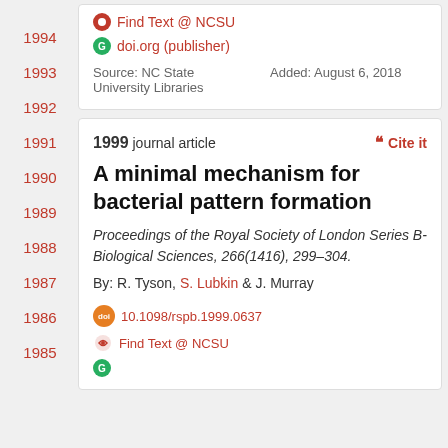1994
1993
1992
1991
1990
1989
1988
1987
1986
1985
doi.org (publisher)
Source: NC State University Libraries
Added: August 6, 2018
1999 journal article
A minimal mechanism for bacterial pattern formation
Proceedings of the Royal Society of London Series B-Biological Sciences, 266(1416), 299–304.
By: R. Tyson, S. Lubkin & J. Murray
10.1098/rspb.1999.0637
Find Text @ NCSU